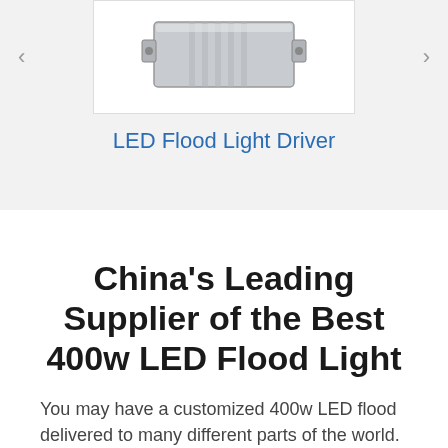[Figure (photo): Product image of an LED Flood Light Driver, a rectangular silver metallic electronic component, shown inside a white bordered box with left and right navigation arrows on either side.]
LED Flood Light Driver
China's Leading Supplier of the Best 400w LED Flood Light
You may have a customized 400w LED flood delivered to many different parts of the world. We